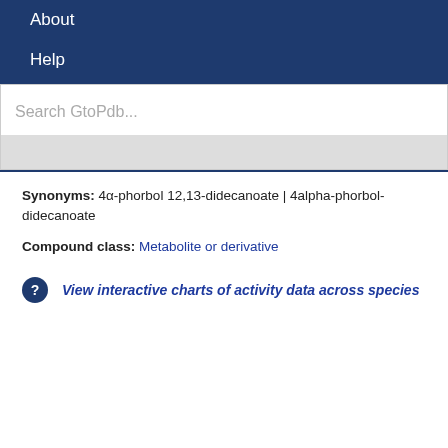About
Help
Search GtoPdb...
Synonyms: 4α-phorbol 12,13-didecanoate | 4alpha-phorbol-didecanoate
Compound class: Metabolite or derivative
View interactive charts of activity data across species